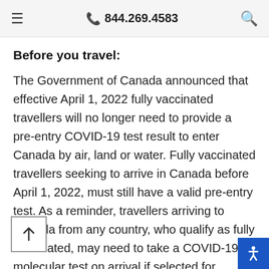☰  📞 844.269.4583  🔍
Before you travel:
The Government of Canada announced that effective April 1, 2022 fully vaccinated travellers will no longer need to provide a pre-entry COVID-19 test result to enter Canada by air, land or water. Fully vaccinated travellers seeking to arrive in Canada before April 1, 2022, must still have a valid pre-entry test. As a reminder, travellers arriving to Canada from any country, who qualify as fully vaccinated, may need to take a COVID-19 molecular test on arrival if selected for mandatory